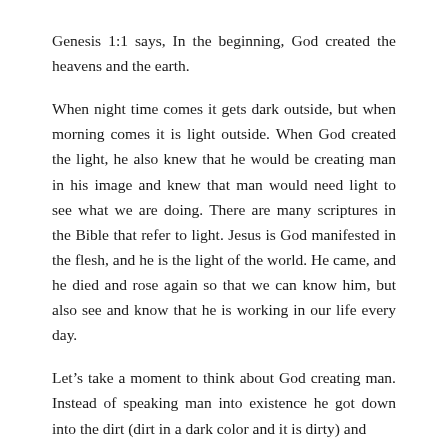Genesis 1:1 says, In the beginning, God created the heavens and the earth.
When night time comes it gets dark outside, but when morning comes it is light outside. When God created the light, he also knew that he would be creating man in his image and knew that man would need light to see what we are doing. There are many scriptures in the Bible that refer to light. Jesus is God manifested in the flesh, and he is the light of the world. He came, and he died and rose again so that we can know him, but also see and know that he is working in our life every day.
Let’s take a moment to think about God creating man. Instead of speaking man into existence he got down into the dirt (dirt in a dark color and it is dirty) and